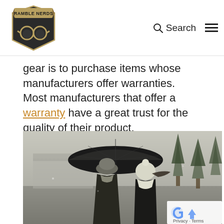RAMBLE NERDS — Search
gear is to purchase items whose manufacturers offer warranties. Most manufacturers that offer a warranty have a great trust for the quality of their product.
[Figure (photo): Two people seen from behind sharing an umbrella in cold windy weather, surrounded by trees in a desaturated/sepia toned outdoor scene.]